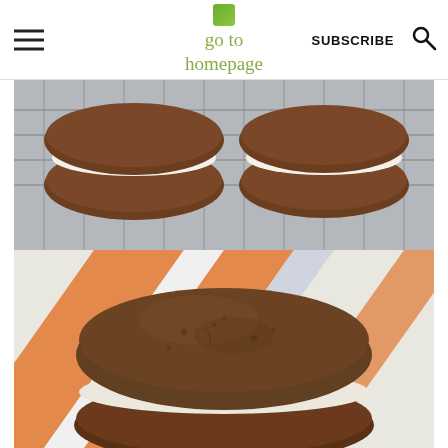go to homepage | SUBSCRIBE
[Figure (photo): Closeup photo of whoopie pies on a cooling rack and on an orange and white striped cloth. A large whoopie pie with cream filling is in the foreground, and two more whoopie pies are visible in the background on a wire rack.]